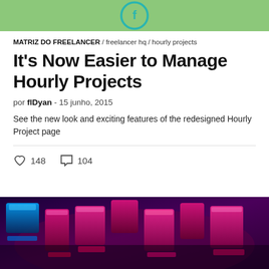[Figure (logo): Green banner with a teal circular Freelancer logo icon]
MATRIZ DO FREELANCER / freelancer hq / hourly projects
It's Now Easier to Manage Hourly Projects
por flDyan - 15 junho, 2015
See the new look and exciting features of the redesigned Hourly Project page
148 likes  104 comments
[Figure (photo): Close-up photo of illuminated keyboard keys with pink, magenta and blue neon lighting on a dark background]